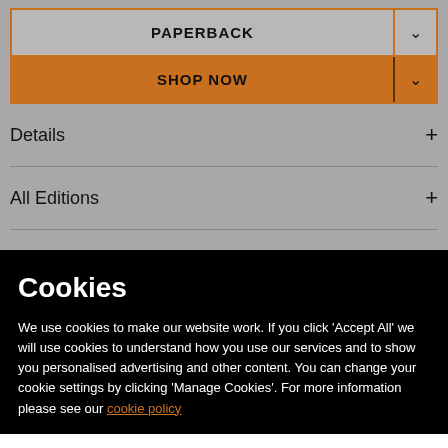PAPERBACK
SHOP NOW
Details
All Editions
Cookies
We use cookies to make our website work. If you click 'Accept All' we will use cookies to understand how you use our services and to show you personalised advertising and other content. You can change your cookie settings by clicking 'Manage Cookies'. For more information please see our cookie policy